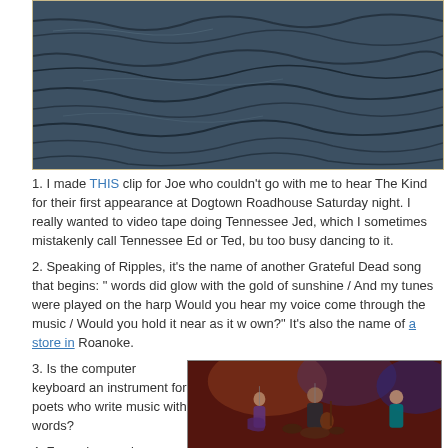[Figure (photo): Abstract rippling dark blue water surface texture photograph]
1. I made THIS clip for Joe who couldn't go with me to hear The Kind for their first appearance at Dogtown Roadhouse Saturday night.  I really wanted to video tape doing Tennessee Jed, which I sometimes mistakenly call Tennessee Ed or Ted, but too busy dancing to it.
2. Speaking of Ripples, it's the name of another Grateful Dead song that begins: "words did glow with the gold of sunshine / And my tunes were played on the harp Would you hear my voice come through the music / Would you hold it near as it w own?"  It's also the name of a store in Roanoke.
3. Is the computer keyboard an instrument for poets who write music with words?
4. Funny how a class announced in The Taubman Museum
[Figure (photo): Band performing on stage with red curtain backdrop, musicians playing guitar and other instruments under blue and colored lights]